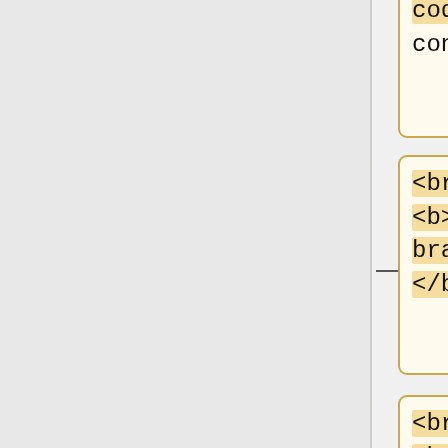anywhere to MicrobeWiki. The insertion code consists of:
<br> <b>Double brackets: </b> [[
<br> <b>Filename: </b> PHIL_1181_lores.jpg
<br> <b>Thumbnail status:</b> |thumb|